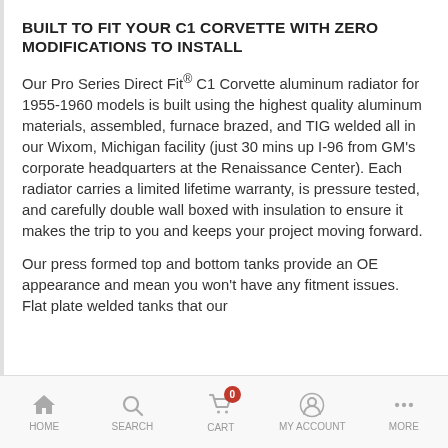BUILT TO FIT YOUR C1 CORVETTE WITH ZERO MODIFICATIONS TO INSTALL
Our Pro Series Direct Fit® C1 Corvette aluminum radiator for 1955-1960 models is built using the highest quality aluminum materials, assembled, furnace brazed, and TIG welded all in our Wixom, Michigan facility (just 30 mins up I-96 from GM's corporate headquarters at the Renaissance Center). Each radiator carries a limited lifetime warranty, is pressure tested, and carefully double wall boxed with insulation to ensure it makes the trip to you and keeps your project moving forward.
Our press formed top and bottom tanks provide an OE appearance and mean you won't have any fitment issues. Flat plate welded tanks that our
HOME  SEARCH  CART  MY ACCOUNT  MORE